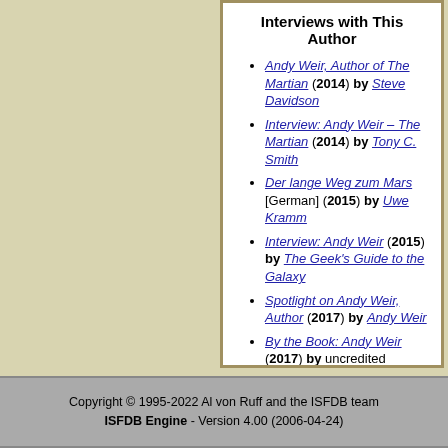Interviews with This Author
Andy Weir, Author of The Martian (2014) by Steve Davidson
Interview: Andy Weir – The Martian (2014) by Tony C. Smith
Der lange Weg zum Mars [German] (2015) by Uwe Kramm
Interview: Andy Weir (2015) by The Geek's Guide to the Galaxy
Spotlight on Andy Weir, Author (2017) by Andy Weir
By the Book: Andy Weir (2017) by uncredited
Ein Gespräch mit Andy Weir [German] (2018) by uncredited
Copyright © 1995-2022 Al von Ruff and the ISFDB team ISFDB Engine - Version 4.00 (2006-04-24)